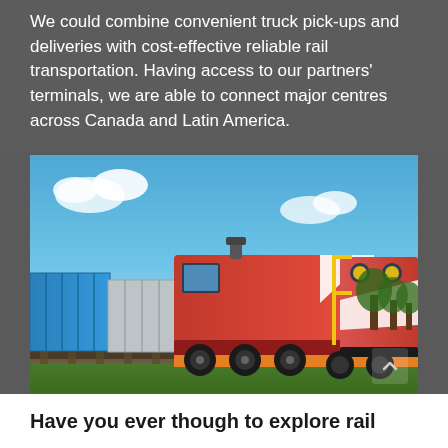We could combine convenient truck pick-ups and deliveries with cost-effective reliable rail transportation. Having access to our partners' terminals, we are able to connect major centres across Canada and Latin America.
[Figure (photo): A red freight train locomotive pulling blue shipping containers along a railway track, with a blue sky and green landscape in the background.]
Have you ever though to explore rail